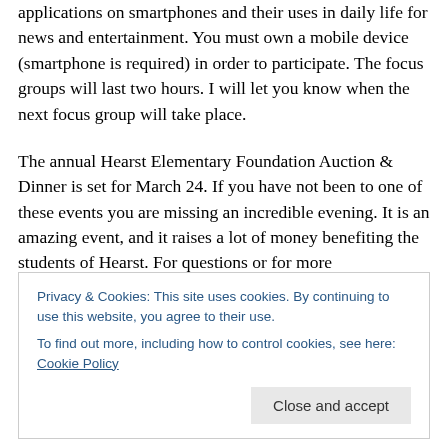applications on smartphones and their uses in daily life for news and entertainment. You must own a mobile device (smartphone is required) in order to participate. The focus groups will last two hours. I will let you know when the next focus group will take place.
The annual Hearst Elementary Foundation Auction & Dinner is set for March 24. If you have not been to one of these events you are missing an incredible evening. It is an amazing event, and it raises a lot of money benefiting the students of Hearst. For questions or for more information, please feel free to contact Jennifer Abrams at
Privacy & Cookies: This site uses cookies. By continuing to use this website, you agree to their use.
To find out more, including how to control cookies, see here: Cookie Policy
Close and accept